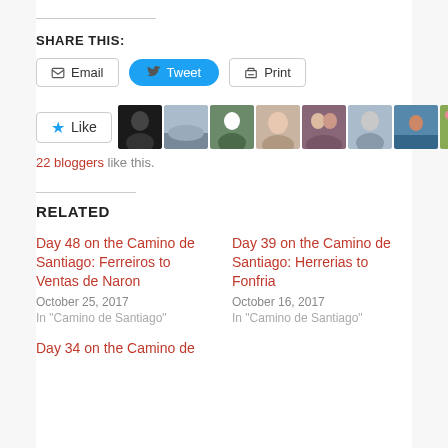SHARE THIS:
Email  Tweet  Print
[Figure (other): Like button with star icon and 10 blogger avatar thumbnails]
22 bloggers like this.
RELATED
Day 48 on the Camino de Santiago: Ferreiros to Ventas de Naron
October 25, 2017
In "Camino de Santiago"
Day 39 on the Camino de Santiago: Herrerias to Fonfria
October 16, 2017
In "Camino de Santiago"
Day 34 on the Camino de